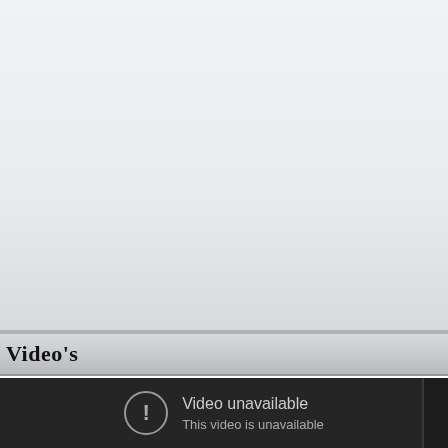[Figure (screenshot): Top portion showing a light gray/white background area, likely a webpage or application header region.]
Video's
[Figure (screenshot): Dark video player area showing 'Video unavailable' error message with an exclamation mark icon and subtitle 'This video is unavailable'.]